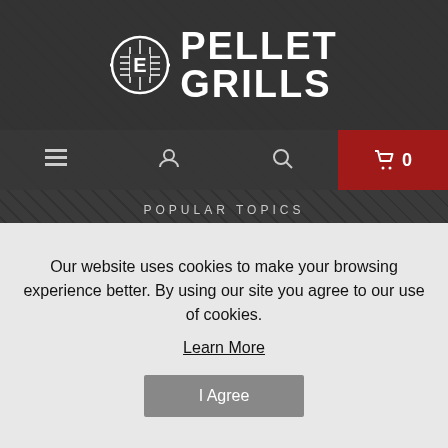[Figure (logo): Expert Pellet Grills logo with grill icon and white bold text reading PELLET GRILLS]
≡   👤   🔍   🛒 0
POPULAR TOPICS
All About Grills
Pellet Grills With a pellet grill, you can bring professional wood-fired flavors r...
Outdoor Barbecue
Take Your Outdoor Barbecues to the Next...
Our website uses cookies to make your browsing experience better. By using our site you agree to our use of cookies.
Learn More
I Agree